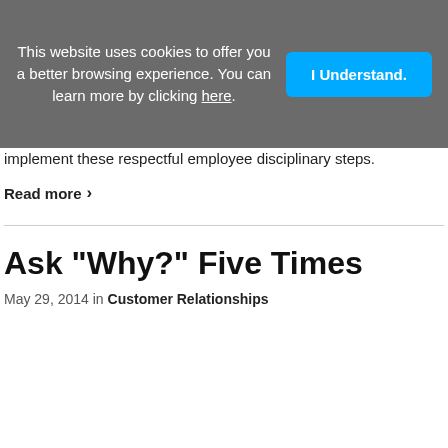This website uses cookies to offer you a better browsing experience. You can learn more by clicking here.
I Understand.
implement these respectful employee disciplinary steps.
Read more >
Ask "Why?" Five Times
May 29, 2014 in Customer Relationships